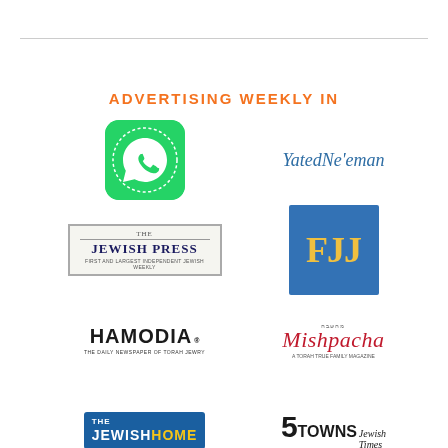ADVERTISING WEEKLY IN
[Figure (logo): WhatsApp-style green circular logo with phone icon]
[Figure (logo): Yated Ne'eman publication logo in blue italic serif text]
[Figure (logo): The Jewish Press logo in scroll-style banner]
[Figure (logo): FJJ logo - yellow letters on blue square background]
[Figure (logo): Hamodia newspaper logo in bold black text]
[Figure (logo): Mishpacha magazine logo in red italic serif text]
[Figure (logo): The Jewish Home logo in white and yellow on blue background]
[Figure (logo): 5 Towns Jewish Times logo in bold black text]